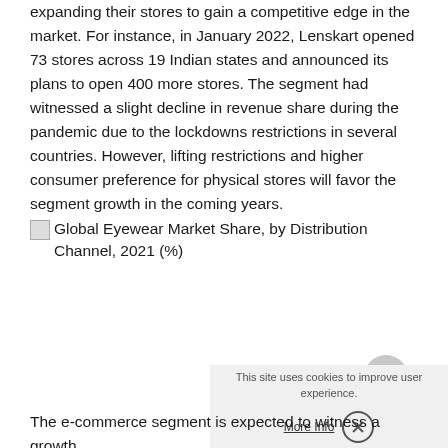expanding their stores to gain a competitive edge in the market. For instance, in January 2022, Lenskart opened 73 stores across 19 Indian states and announced its plans to open 400 more stores. The segment had witnessed a slight decline in revenue share during the pandemic due to the lockdowns restrictions in several countries. However, lifting restrictions and higher consumer preference for physical stores will favor the segment growth in the coming years.
[Figure (other): Broken image placeholder for Global Eyewear Market Share, by Distribution Channel, 2021 (%) chart — image failed to load]
Global Eyewear Market Share, by Distribution Channel, 2021 (%)
The e-commerce segment is expected to witness a growth